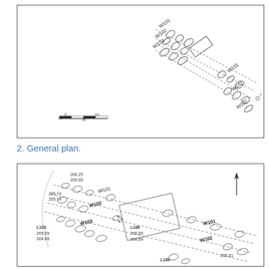[Figure (engineering-diagram): Archaeological site plan (overview/small scale) showing walls W101, W102, W103, W107 as stone alignments with scale bar 0-10m]
2. General plan.
[Figure (engineering-diagram): Detailed general plan of archaeological site showing walls W101, W102, W103 with elevation readings (266.25, 265.60, 265.74, 265.14, L103 265.09, 264.60, L106 265.85, 264.69, L108, 265.81), north arrow, and stone alignments]